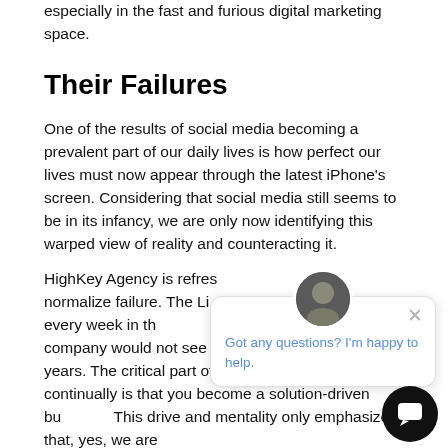especially in the fast and furious digital marketing space.
Their Failures
One of the results of social media becoming a prevalent part of our daily lives is how perfect our lives must now appear through the latest iPhone's screen. Considering that social media still seems to be in its infancy, we are only now identifying this warped view of reality and counteracting it.
HighKey Agency is refres… normalize failure. The Li… happens every week in th… failures, their company would not see the growth it has over the years. The critical part of failing and failing continually is that you become a solution-driven bu… This drive and mentality only emphasize that, yes, we are